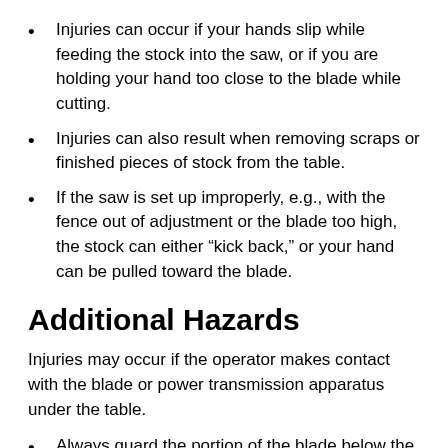Injuries can occur if your hands slip while feeding the stock into the saw, or if you are holding your hand too close to the blade while cutting.
Injuries can also result when removing scraps or finished pieces of stock from the table.
If the saw is set up improperly, e.g., with the fence out of adjustment or the blade too high, the stock can either “kick back,” or your hand can be pulled toward the blade.
Additional Hazards
Injuries may occur if the operator makes contact with the blade or power transmission apparatus under the table.
Always guard the portion of the blade below the table. Protect operators from possible